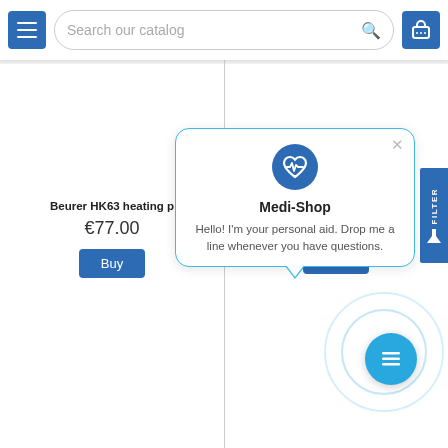[Figure (screenshot): E-commerce website header with menu button, search bar reading 'Search our catalog', and shopping cart button]
Beurer HK63 heating p
€77.00
Buy
Buy
[Figure (infographic): Chat popup modal with Medi-Shop branding. Contains a blue heart with heartbeat icon, title 'Medi-Shop', and message 'Hello! I'm your personal aid. Drop me a line whenever you have questions.' with a close X button. Below is a floating chat button (FAB) with rings around it.]
Medi-Shop
Hello! I'm your personal aid. Drop me a line whenever you have questions.
FILTER